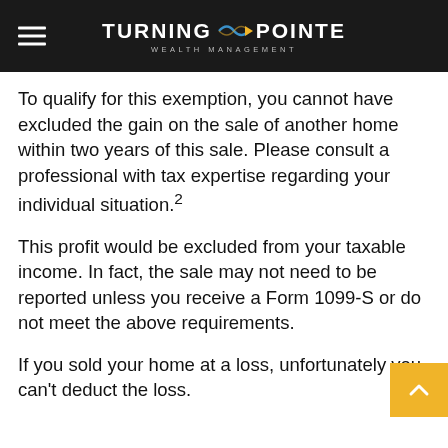Turning Pointe Wealth Management
To qualify for this exemption, you cannot have excluded the gain on the sale of another home within two years of this sale. Please consult a professional with tax expertise regarding your individual situation.²
This profit would be excluded from your taxable income. In fact, the sale may not need to be reported unless you receive a Form 1099-S or do not meet the above requirements.
If you sold your home at a loss, unfortunately you can't deduct the loss.